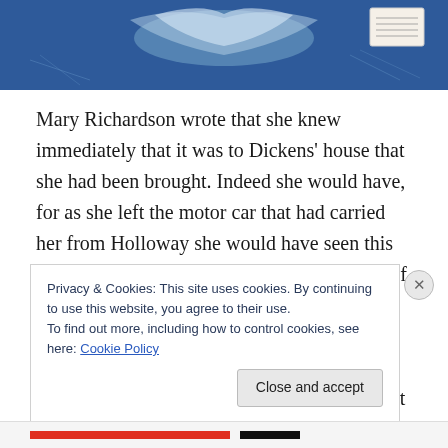[Figure (photo): Partial view of a blue decorative plaque or emblem with white design elements, and a small paper label/badge visible in the top right corner.]
Mary Richardson wrote that she knew immediately that it was to Dickens’ house that she had been brought. Indeed she would have, for as she left the motor car that had carried her from Holloway she would have seen this plaque, which had  been placed on the front of 48 Doughty Street by the LCC in 1903. Once settled into the boarding house doubtless she would have heard from Miss Lyons more about  the famous connection that gave cachet to
Privacy & Cookies: This site uses cookies. By continuing to use this website, you agree to their use.
To find out more, including how to control cookies, see here: Cookie Policy